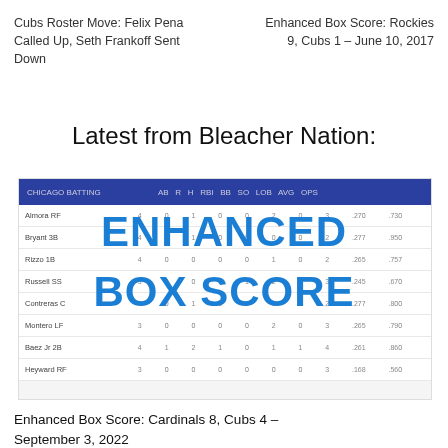Cubs Roster Move: Felix Pena Called Up, Seth Frankoff Sent Down
Enhanced Box Score: Rockies 9, Cubs 1 – June 10, 2017
Latest from Bleacher Nation:
[Figure (screenshot): Enhanced Box Score table screenshot with blue header row and player rows, overlaid with large blue bold text reading ENHANCED BOX SCORE]
Enhanced Box Score: Cardinals 8, Cubs 4 – September 3, 2022